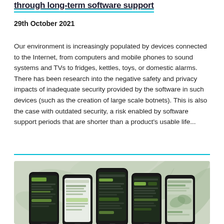through long-term software support
29th October 2021
Our environment is increasingly populated by devices connected to the Internet, from computers and mobile phones to sound systems and TVs to fridges, kettles, toys, or domestic alarms. There has been research into the negative safety and privacy impacts of inadequate security provided by the software in such devices (such as the creation of large scale botnets). This is also the case with outdated security, a risk enabled by software support periods that are shorter than a product's usable life...
[Figure (photo): Five smartphones displayed in a row on a green leafy background, each showing different mobile app screens with dark green themes and interface elements.]